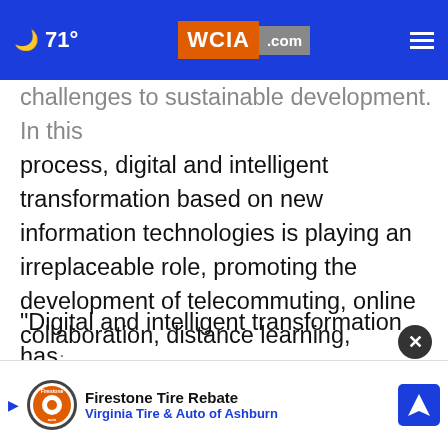71° WCIA.com
challenges to sustainable development. In this process, digital and intelligent transformation based on new information technologies is playing an irreplaceable role, promoting the development of telecommuting, online collaboration, distance learning, telemedicine, smart factories, unmanned mining, and smart ports.
"Digital and intelligent transformation has equipped humans with the discernment to face uncertainty with
[Figure (screenshot): Advertisement banner: Firestone Tire Rebate - Virginia Tire & Auto of Ashburn]